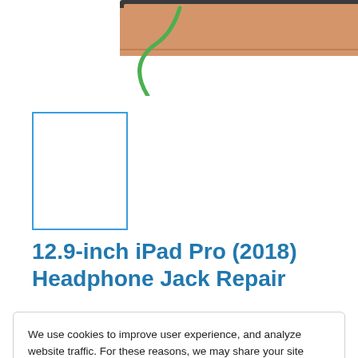[Figure (illustration): Partial illustration of an iPad with orange/tan color at top, a green curved wire/cable element visible at lower left of the image area.]
[Figure (illustration): Small blue-bordered thumbnail placeholder box for a product image.]
12.9-inch iPad Pro (2018) Headphone Jack Repair
We use cookies to improve user experience, and analyze website traffic. For these reasons, we may share your site usage data with our analytics partners. By continuing to the site, you consent to store on your device all the technologies described in our Cookie Policy. You can change your cookie settings at any time by clicking “Cookie Preferences.”
Accept